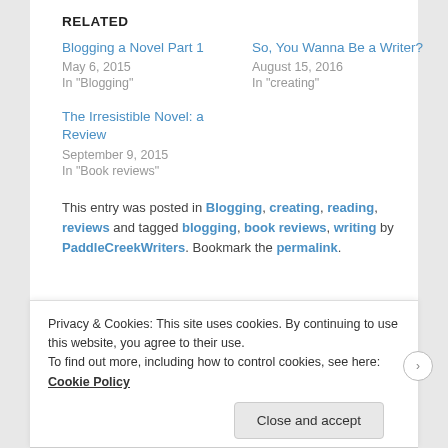RELATED
Blogging a Novel Part 1
May 6, 2015
In "Blogging"
So, You Wanna Be a Writer?
August 15, 2016
In "creating"
The Irresistible Novel: a Review
September 9, 2015
In "Book reviews"
This entry was posted in Blogging, creating, reading, reviews and tagged blogging, book reviews, writing by PaddleCreekWriters. Bookmark the permalink.
Privacy & Cookies: This site uses cookies. By continuing to use this website, you agree to their use.
To find out more, including how to control cookies, see here: Cookie Policy